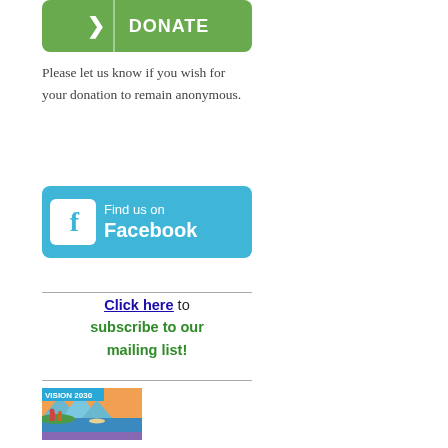[Figure (illustration): Green donate button with white arrow chevron on left and 'DONATE' text on right]
Please let us know if you wish for your donation to remain anonymous.
[Figure (illustration): Blue 'Find us on Facebook' button with white Facebook 'f' icon on left]
Click here to subscribe to our mailing list!
[Figure (illustration): Vision 2030 image with mountain/lake landscape scene and purple bar at bottom]